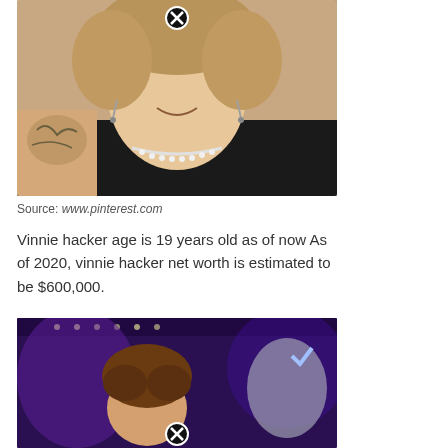[Figure (photo): Close-up selfie of a young man with curly blonde hair, wearing a black t-shirt, pearl necklace, and dangling earrings, smiling. Has a tattoo on his arm. There is a close/X button overlay at the top center.]
Source: www.pinterest.com
Vinnie hacker age is 19 years old as of now As of 2020, vinnie hacker net worth is estimated to be $600,000.
[Figure (photo): Photo of a young person with curly brown hair in a dimly lit room with purple/blue LED lighting. There is a close/X button overlay at the bottom center.]